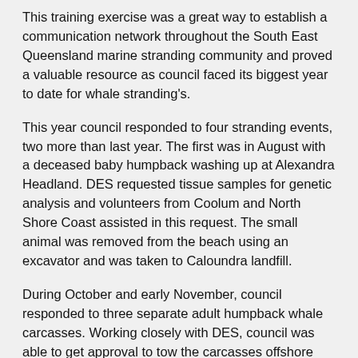This training exercise was a great way to establish a communication network throughout the South East Queensland marine stranding community and proved a valuable resource as council faced its biggest year to date for whale stranding's.
This year council responded to four stranding events, two more than last year. The first was in August with a deceased baby humpback washing up at Alexandra Headland. DES requested tissue samples for genetic analysis and volunteers from Coolum and North Shore Coast assisted in this request. The small animal was removed from the beach using an excavator and was taken to Caloundra landfill.
During October and early November, council responded to three separate adult humpback whale carcasses. Working closely with DES, council was able to get approval to tow the carcasses offshore before they could become stranded on shore. Unfortunately with the first whale on October 24 at Third Bay in Coolum, the winds and tides pushed the carcass onto the rocks minutes before the contractor could reach it. Despite several attempts to attach a rope to the carcass that evening, the attempt was abandoned due to unsafe conditions and declining light.
In the early hours of the next morning, with the help of the incoming